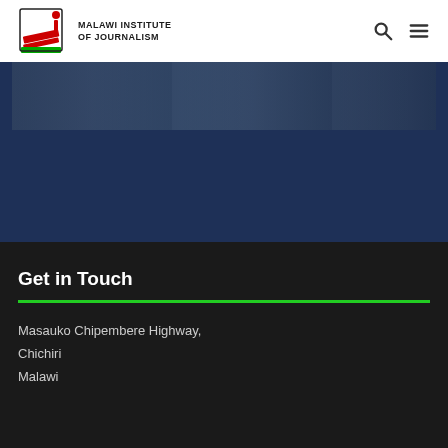MALAWI INSTITUTE OF JOURNALISM
[Figure (photo): Website screenshot header with image strip showing figures against a dark blue background]
Get in Touch
Masauko Chipembere Highway,
Chichiri
Malawi